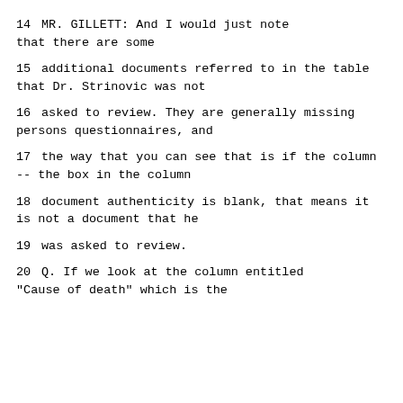14      MR. GILLETT:  And I would just note that there are some
15      additional documents referred to in the table that Dr. Strinovic was not
16      asked to review.  They are generally missing persons questionnaires, and
17      the way that you can see that is if the column -- the box in the column
18      document authenticity is blank, that means it is not a document that he
19      was asked to review.
20      Q.   If we look at the column entitled "Cause of death" which is the